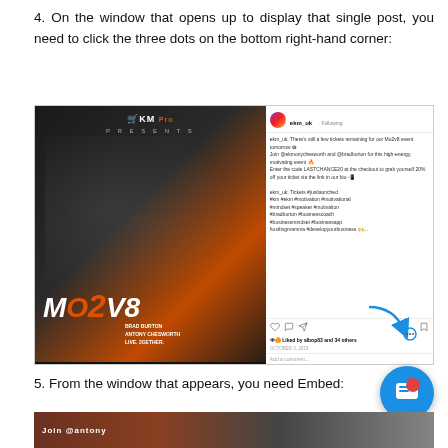4. On the window that opens up to display that single post, you need to click the three dots on the bottom right-hand corner:
[Figure (screenshot): Screenshot of an Instagram post showing a Mo2v8 event promotional image with Brad Burton and Antony Chesworth, with a blue arrow pointing to the three-dots menu in the bottom right corner of the post.]
5. From the window that appears, you need Embed:
[Figure (screenshot): Bottom strip showing start of another Instagram screenshot with 'Join @anton' text visible.]